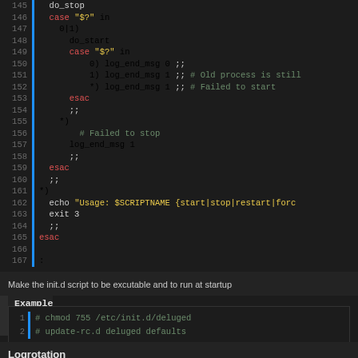[Figure (screenshot): Code editor screenshot showing shell script lines 145-167 with syntax highlighting. Keywords in red (case, esac, echo), strings in yellow, comments in grey, plain code in white. Blue vertical bar on left margin.]
Make the init.d script to be excutable and to run at startup
Example
[Figure (screenshot): Code example box with 2 lines: '# chmod 755 /etc/init.d/deluged' and '# update-rc.d deluged defaults', both as comments in grey/green, with line numbers 1 and 2 and blue vertical bar.]
Logrotation